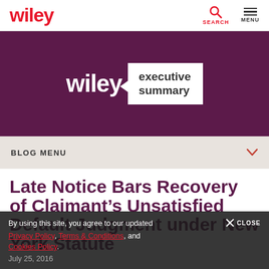wiley | SEARCH | MENU
[Figure (logo): Wiley Executive Summary logo on purple banner background]
BLOG MENU
Late Notice Bars Recovery of Claimant’s Unsatisfied Default Judgment under New York Statute
By using this site, you agree to our updated Privacy Policy, Terms & Conditions, and Cookies Policy.
July 25, 2016